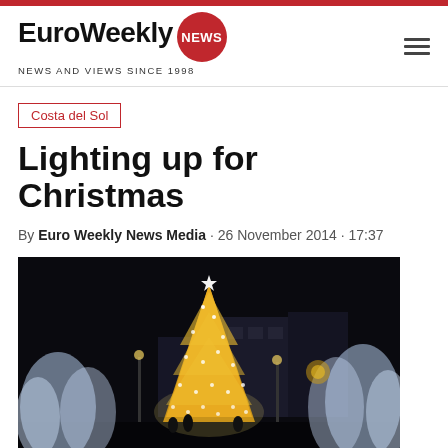EuroWeekly NEWS — NEWS AND VIEWS SINCE 1998
Costa del Sol
Lighting up for Christmas
By Euro Weekly News Media · 26 November 2014 · 17:37
[Figure (photo): Illuminated Christmas tree at night in a town square, surrounded by white decorative lights on trees, with buildings in the background]